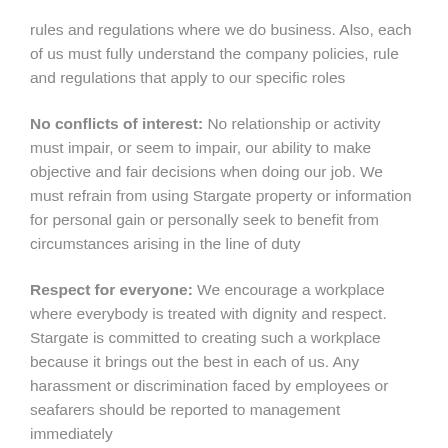rules and regulations where we do business. Also, each of us must fully understand the company policies, rule and regulations that apply to our specific roles
No conflicts of interest: No relationship or activity must impair, or seem to impair, our ability to make objective and fair decisions when doing our job. We must refrain from using Stargate property or information for personal gain or personally seek to benefit from circumstances arising in the line of duty
Respect for everyone: We encourage a workplace where everybody is treated with dignity and respect. Stargate is committed to creating such a workplace because it brings out the best in each of us. Any harassment or discrimination faced by employees or seafarers should be reported to management immediately